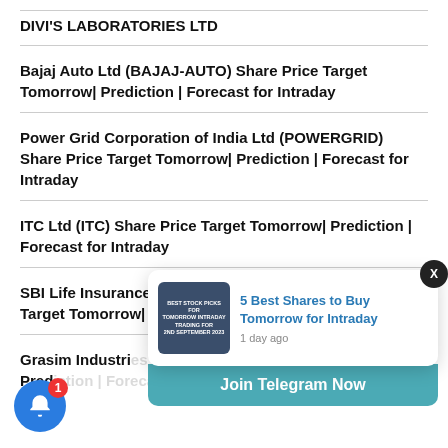DIVI'S LABORATORIES LTD
Bajaj Auto Ltd (BAJAJ-AUTO) Share Price Target Tomorrow| Prediction | Forecast for Intraday
Power Grid Corporation of India Ltd (POWERGRID) Share Price Target Tomorrow| Prediction | Forecast for Intraday
ITC Ltd (ITC) Share Price Target Tomorrow| Prediction | Forecast for Intraday
SBI Life Insurance Company Ltd (SBILIFE) Share Price Target Tomorrow| Prediction | Forecast for Intraday
Grasim Industries... Share Price Target Tomorrow| Prediction...
[Figure (screenshot): Notification popup showing '5 Best Shares to Buy Tomorrow for Intraday - 1 day ago' with thumbnail image and Join Telegram Now banner]